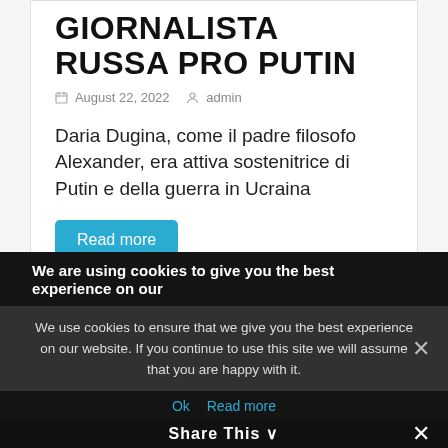GIORNALISTA RUSSA PRO PUTIN
August 22, 2022   admin
Daria Dugina, come il padre filosofo Alexander, era attiva sostenitrice di Putin e della guerra in Ucraina
Read more
[Figure (photo): Advertisement banner with three sections: left gray area, center dark red area with gothic text 'Zwölfjährl Casino', right gray area]
We are using cookies to give you the best experience on our
We use cookies to ensure that we give you the best experience on our website. If you continue to use this site we will assume that you are happy with it.
Ok  Read more
Share This